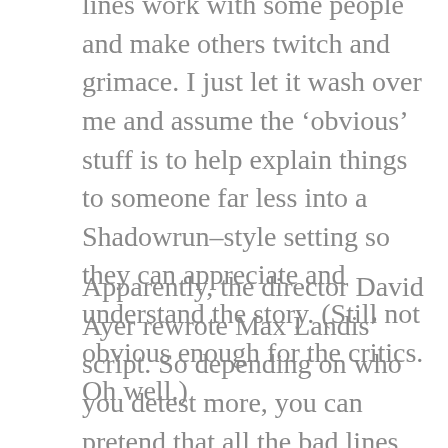lines work with some people and make others twitch and grimace. I just let it wash over me and assume the ‘obvious’ stuff is to help explain things to someone far less into a Shadowrun–style setting so they can appreciate and understand the story. (Still not obvious enough for the critics. Oh well.)
Apparently, the director David Ayer rewrote Max Landis’ script. So depending on who you detest more, you can pretend that all the bad lines came from that person. Guess we’ll never know for sure unless the original script comes to light.